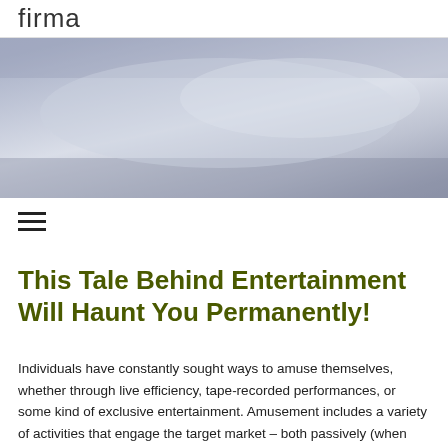firma
[Figure (photo): A large banner image with a silvery-blue gradient metallic background, possibly sky or abstract sheen.]
[Figure (other): Hamburger menu icon — three horizontal black bars stacked vertically.]
This Tale Behind Entertainment Will Haunt You Permanently!
Individuals have constantly sought ways to amuse themselves, whether through live efficiency, tape-recorded performances, or some kind of exclusive entertainment. Amusement includes a variety of activities that engage the target market – both passively (when seeing), as well as proactively, when participating in a certain activity.